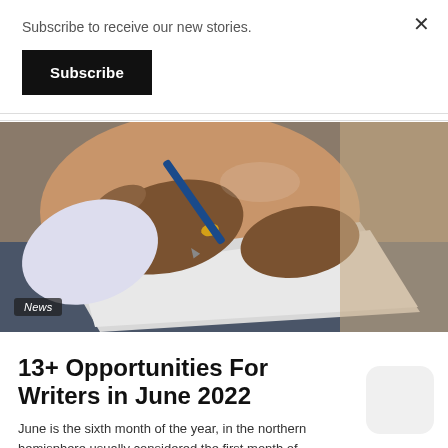Subscribe to receive our new stories.
Subscribe
[Figure (photo): Close-up photo of a person's hands writing on paper with a blue pen, wearing a gold ring, dressed in a white shirt and jeans. A 'News' badge appears in the lower-left of the image.]
13+ Opportunities For Writers in June 2022
June is the sixth month of the year, in the northern hemisphere usually considered the first month of summer.